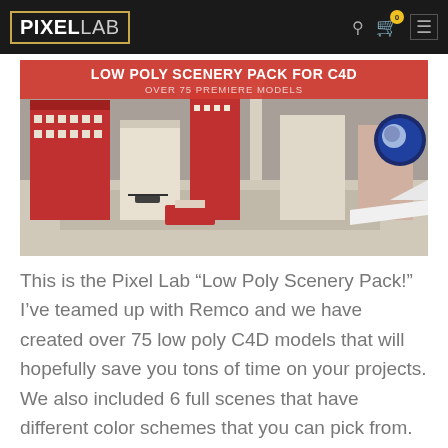PIXELLAB
[Figure (photo): Low Poly Scenery Pack for C4D product banner showing 3D low poly city scene with buildings, vehicles, and urban environment in red and white color scheme. Banner text reads: LOW POLY SCENERY PACK FOR C4D / OVER 75 PREMIERE MODELS]
This is the Pixel Lab “Low Poly Scenery Pack!” I’ve teamed up with Remco and we have created over 75 low poly C4D models that will hopefully save you tons of time on your projects. We also included 6 full scenes that have different color schemes that you can pick from.